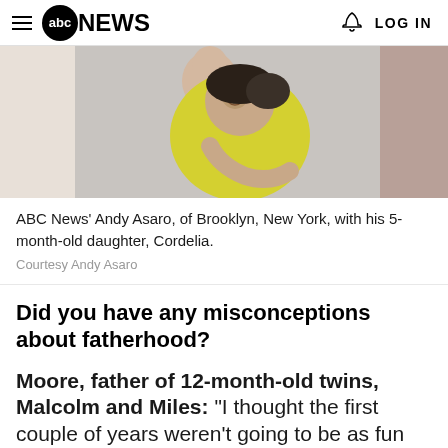abc NEWS  LOG IN
[Figure (photo): A man in a yellow tank top holding a baby girl in a floral outfit, smiling, indoors]
ABC News' Andy Asaro, of Brooklyn, New York, with his 5-month-old daughter, Cordelia.
Courtesy Andy Asaro
Did you have any misconceptions about fatherhood?
Moore, father of 12-month-old twins, Malcolm and Miles: "I thought the first couple of years weren't going to be as fun as opposed to when they're mobile, but that